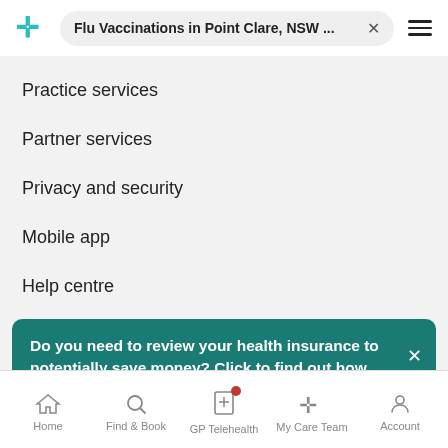Flu Vaccinations in Point Clare, NSW ... ×
Practice services
Partner services
Privacy and security
Mobile app
Help centre
Do you need to review your health insurance to potentially save money? Click to find out how.
Home   Find & Book   GP Telehealth   My Care Team   Account